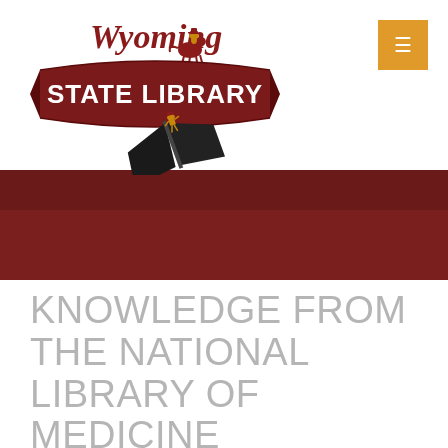[Figure (logo): Wyoming State Library logo with cowboy on bucking horse and open book, red banner with STATE LIBRARY text, Wyoming cursive script above]
KNOWLEDGE FROM THE NATIONAL LIBRARY OF MEDICINE
Home › Uncategorized › Knowledge from the National Library of